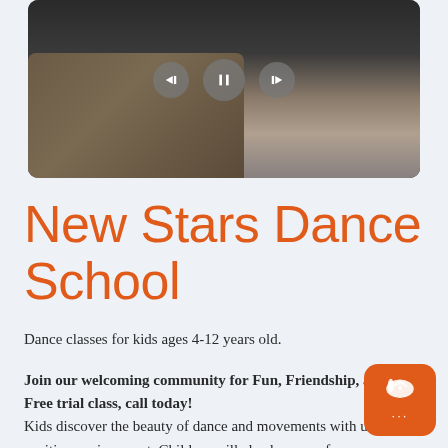[Figure (screenshot): A video player screenshot showing a living room with a brown sofa, with playback controls (previous, pause, next buttons) overlaid in the center.]
New Stars Dance School
Dance classes for kids ages 4-12 years old.
Join our welcoming community for Fun, Friendship, and Joy. Free trial class, call today! Kids discover the beauty of dance and movements with us in a positive environment. Children will also learn conf... stretching, and coordination. Our school has developed a unique program where your kid...